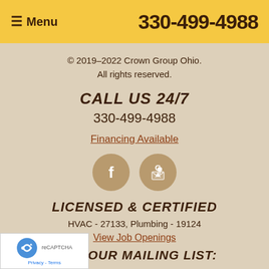≡ Menu   330-499-4988
© 2019–2022 Crown Group Ohio.
All rights reserved.
CALL US 24/7
330-499-4988
Financing Available
[Figure (illustration): Facebook and Google Maps social/review icons as golden circular buttons]
LICENSED & CERTIFIED
HVAC - 27133, Plumbing - 19124
View Job Openings
JOIN OUR MAILING LIST:
[Figure (other): Google reCAPTCHA widget in bottom left corner with logo and Privacy - Terms links]